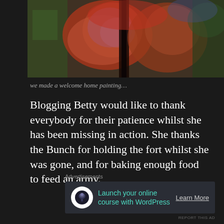[Figure (photo): Abstract painting with warm reddish-pink and orange tones, dark central vertical element, green accents, textured impressionistic brushwork — a welcome home painting]
we made a welcome home painting…
Blogging Betty would like to thank everybody for their patience whilst she has been missing in action. She thanks the Bunch for holding the fort whilst she was gone, and for baking enough food to feed an army.
Advertisements
Launch your online course with WordPress
Learn More
REPORT THIS AD